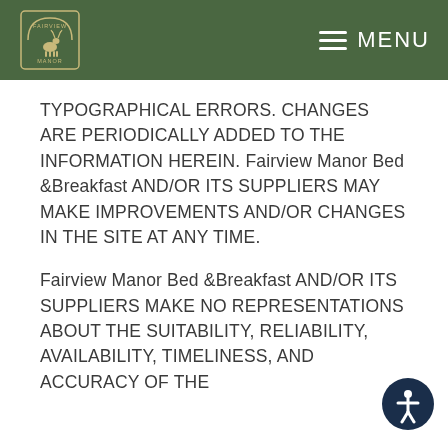Fairview Manor — MENU
TYPOGRAPHICAL ERRORS. CHANGES ARE PERIODICALLY ADDED TO THE INFORMATION HEREIN. Fairview Manor Bed &Breakfast AND/OR ITS SUPPLIERS MAY MAKE IMPROVEMENTS AND/OR CHANGES IN THE SITE AT ANY TIME.
Fairview Manor Bed &Breakfast AND/OR ITS SUPPLIERS MAKE NO REPRESENTATIONS ABOUT THE SUITABILITY, RELIABILITY, AVAILABILITY, TIMELINESS, AND ACCURACY OF THE